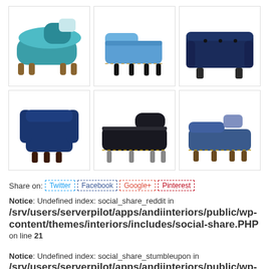[Figure (photo): 3x2 grid of blue/teal/navy upholstered chaise lounge chairs and armchairs on white backgrounds]
Share on: Twitter Facebook Google+ Pinterest
Notice: Undefined index: social_share_reddit in /srv/users/serverpilot/apps/andiinteriors/public/wp-content/themes/interiors/includes/social-share.PHP on line 21
Notice: Undefined index: social_share_stumbleupon in /srv/users/serverpilot/apps/andiinteriors/public/wp-content/themes/interiors/includes/social-share.PHP on line 25
Notice: Undefined index: social_share_digg in